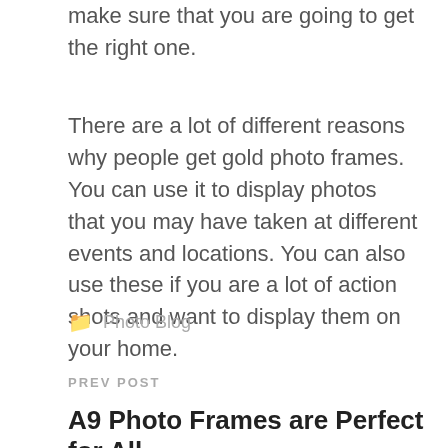make sure that you are going to get the right one.
There are a lot of different reasons why people get gold photo frames. You can use it to display photos that you may have taken at different events and locations. You can also use these if you are a lot of action shots and want to display them on your home.
Photo Blog
PREV POST
A9 Photo Frames are Perfect for All